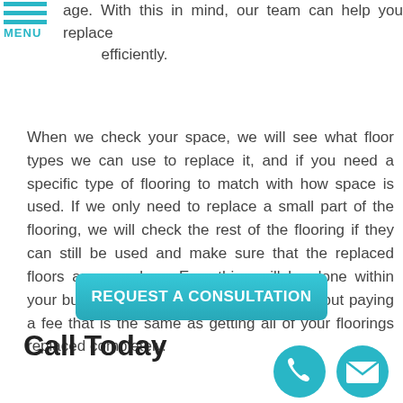age. With this in mind, our team can help you replace efficiently.
When we check your space, we will see what floor types we can use to replace it, and if you need a specific type of flooring to match with how space is used. If we only need to replace a small part of the flooring, we will check the rest of the flooring if they can still be used and make sure that the replaced floors are seamless. Everything will be done within your budget, so you don’t have to worry about paying a fee that is the same as getting all of your floorings replaced completely.
REQUEST A CONSULTATION
Call Today
[Figure (illustration): Teal circular phone icon and teal circular email/envelope icon side by side in bottom right corner]